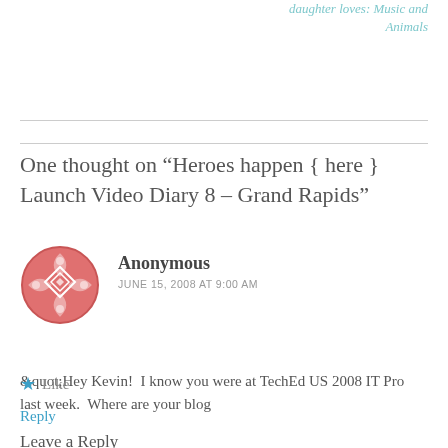daughter loves: Music and Animals
One thought on “Heroes happen { here } Launch Video Diary 8 – Grand Rapids”
Anonymous
JUNE 15, 2008 AT 9:00 AM
&quot;Hey Kevin!  I know you were at TechEd US 2008 IT Pro last week.  Where are your blog
Like
Reply
Leave a Reply